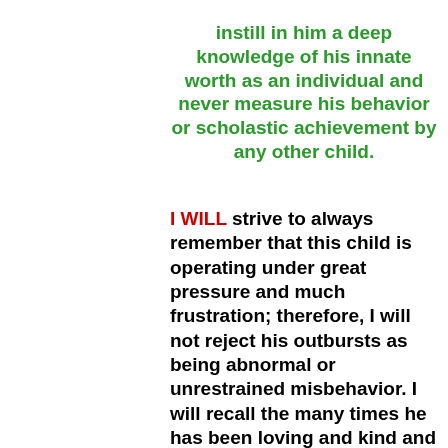instill in him a deep knowledge of his innate worth as an individual and never measure his behavior or scholastic achievement by any other child.
I WILL strive to always remember that this child is operating under great pressure and much frustration; therefore, I will not reject his outbursts as being abnormal or unrestrained misbehavior. I will recall the many times he has been loving and kind and try to overlook the incidences when there